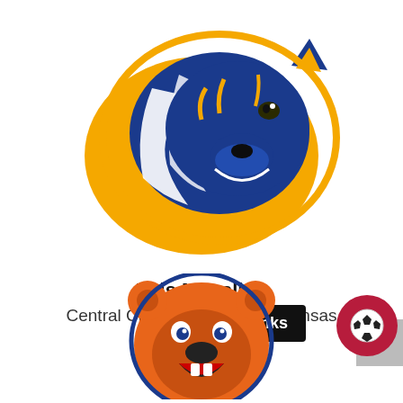[Figure (logo): Tiger mascot logo — blue and gold tiger head facing right, with white mane highlights, gold border]
Luis Magallon
Central Christian College of Kansas
[Figure (logo): Orange bear mascot head with blue accents, facing left with open mouth]
Quick Links